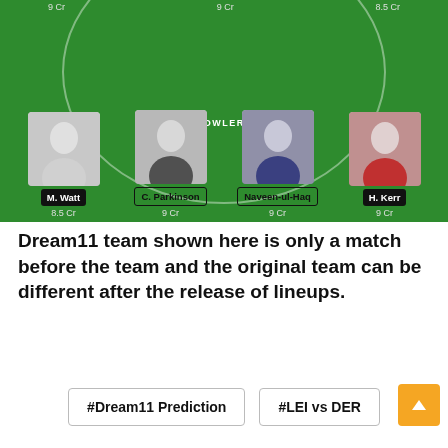[Figure (infographic): Dream11 fantasy cricket team builder screenshot showing BOWLERS section with four player cards on a green football/cricket field background. Players shown: M. Watt (8.5 Cr), C. Parkinson (9 Cr), Naveen-ul-Haq (9 Cr), H. Kerr (9 Cr). Top row partial credits: 9 Cr, 9 Cr, 8.5 Cr visible.]
Dream11 team shown here is only a match before the team and the original team can be different after the release of lineups.
#Dream11 Prediction
#LEI vs DER